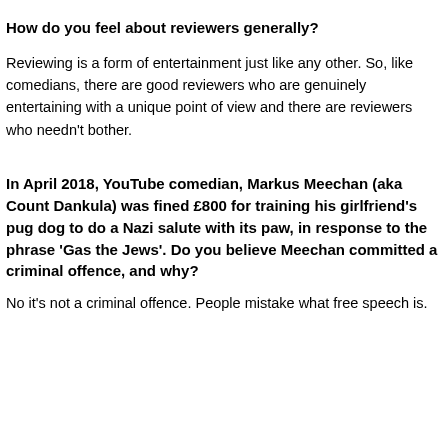How do you feel about reviewers generally?
Reviewing is a form of entertainment just like any other. So, like comedians, there are good reviewers who are genuinely entertaining with a unique point of view and there are reviewers who needn't bother.
In April 2018, YouTube comedian, Markus Meechan (aka Count Dankula) was fined £800 for training his girlfriend's pug dog to do a Nazi salute with its paw, in response to the phrase 'Gas the Jews'. Do you believe Meechan committed a criminal offence, and why?
No it's not a criminal offence. People mistake what free speech is.